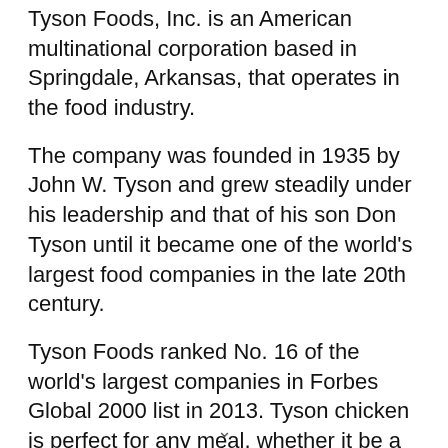Tyson Foods, Inc. is an American multinational corporation based in Springdale, Arkansas, that operates in the food industry.
The company was founded in 1935 by John W. Tyson and grew steadily under his leadership and that of his son Don Tyson until it became one of the world's largest food companies in the late 20th century.
Tyson Foods ranked No. 16 of the world's largest companies in Forbes Global 2000 list in 2013. Tyson chicken is perfect for any meal, whether it be a quick snack or a full-